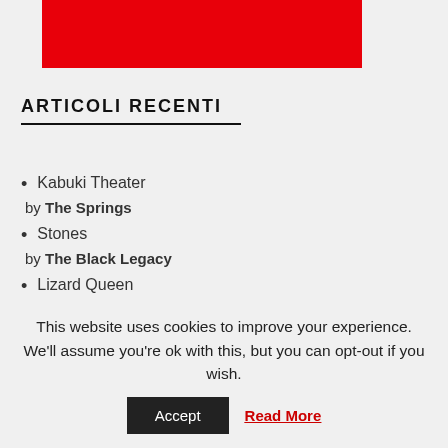[Figure (illustration): Red rectangular banner image at the top of the page]
ARTICOLI RECENTI
Kabuki Theater by The Springs
Stones by The Black Legacy
Lizard Queen by TEDDY RIZZO
Dmytro
This website uses cookies to improve your experience. We'll assume you're ok with this, but you can opt-out if you wish.
Accept | Read More